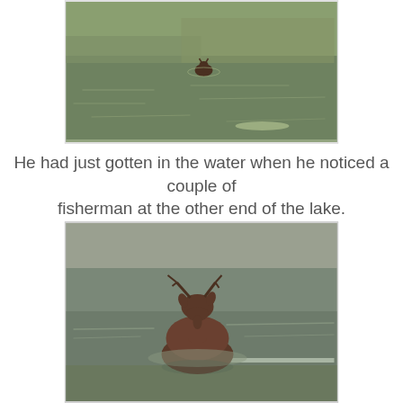[Figure (photo): A moose swimming in a greenish lake, seen from a distance, small dark shape in the water with ripples around it.]
He had just gotten in the water when he noticed a couple of fisherman at the other end of the lake.
[Figure (photo): A moose wading in a lake, closer view, showing its head with small antlers above the water surface, brownish body partially submerged in murky greenish water.]